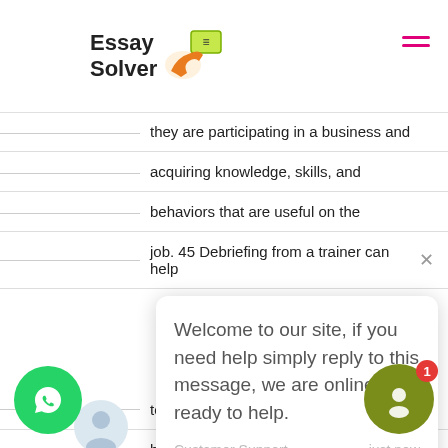Essay Solver
they are participating in a business and acquiring knowledge, skills, and behaviors that are useful on the job. 45  Debriefing from a trainer can help
[Figure (screenshot): Chat popup widget: 'Welcome to our site, if you need help simply reply to this message, we are online and ready to help.' from Customer Support, just now]
to use at work the knowledge, skills, or behavior emphasized in the game 7.6  contains some questions that ca...